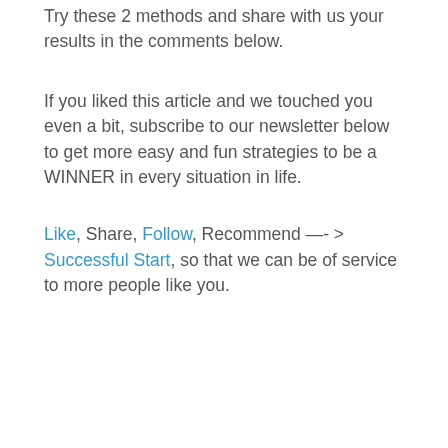Try these 2 methods and share with us your results in the comments below.
If you liked this article and we touched you even a bit, subscribe to our newsletter below to get more easy and fun strategies to be a WINNER in every situation in life.
Like, Share, Follow, Recommend —- > Successful Start, so that we can be of service to more people like you.